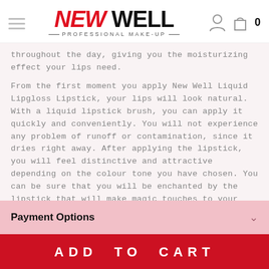NEW WELL PROFESSIONAL MAKE-UP
throughout the day, giving you the moisturizing effect your lips need.
From the first moment you apply New Well Liquid Lipgloss Lipstick, your lips will look natural. With a liquid lipstick brush, you can apply it quickly and conveniently. You will not experience any problem of runoff or contamination, since it dries right away. After applying the lipstick, you will feel distinctive and attractive depending on the colour tone you have chosen. You can be sure that you will be enchanted by the lipstick that will make magic touches to your lips and that you will feel all the eyes looking at you.
Payment Options
ADD TO CART